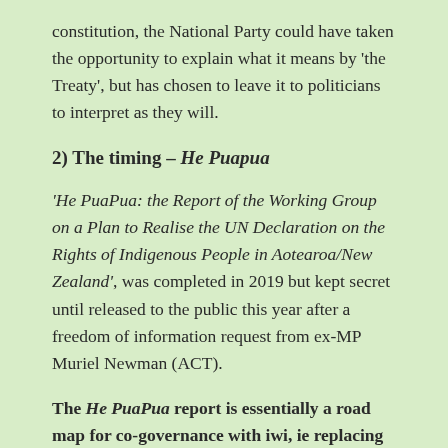constitution, the National Party could have taken the opportunity to explain what it means by 'the Treaty', but has chosen to leave it to politicians to interpret as they will.
2) The timing – He Puapua
'He PuaPua: the Report of the Working Group on a Plan to Realise the UN Declaration on the Rights of Indigenous People in Aotearoa/New Zealand', was completed in 2019 but kept secret until released to the public this year after a freedom of information request from ex-MP Muriel Newman (ACT).
The He PuaPua report is essentially a road map for co-governance with iwi, ie replacing Western democracy with tribal rule – by 2040.